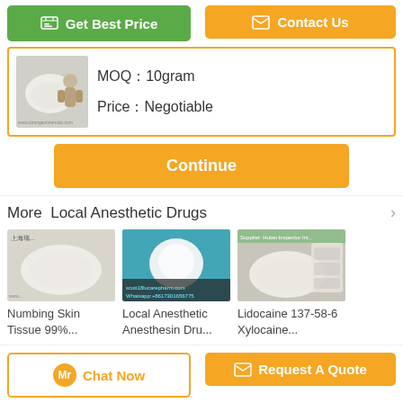[Figure (screenshot): Get Best Price green button with chat icon]
[Figure (screenshot): Contact Us orange button with envelope icon]
[Figure (photo): Product image showing white powder with strongeststeroids.com watermark and bodybuilder graphic]
MOQ：10gram
Price：Negotiable
[Figure (screenshot): Continue orange button]
More  Local Anesthetic Drugs
[Figure (photo): Numbing Skin Tissue 99%... product photo showing white powder]
Numbing Skin Tissue 99%...
[Figure (photo): Local Anesthetic Anesthesin Dru... product photo showing white substance on teal background with contact info]
Local Anesthetic Anesthesin Dru...
[Figure (photo): Lidocaine 137-58-6 Xylocaine... product photo showing white powder]
Lidocaine 137-58-6 Xylocaine...
Change Language
english
[Figure (screenshot): Chat Now button with orange circle icon]
[Figure (screenshot): Request A Quote orange button with envelope icon]